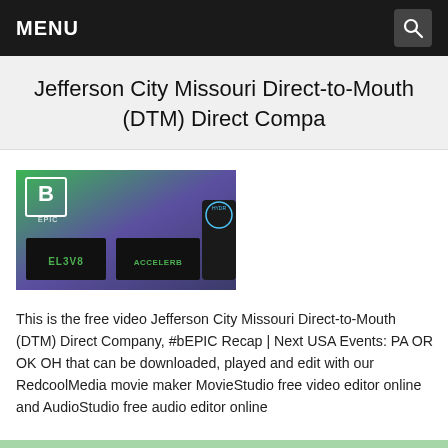MENU
Jefferson City Missouri Direct-to-Mouth (DTM) Direct Compa
[Figure (photo): Product photo showing bEPIC brand supplements: EL3V8, ACCELERB boxes and HYDRA tube on a green-to-purple gradient background with bEPIC logo]
This is the free video Jefferson City Missouri Direct-to-Mouth (DTM) Direct Company, #bEPIC Recap | Next USA Events: PA OR OK OH that can be downloaded, played and edit with our RedcoolMedia movie maker MovieStudio free video editor online and AudioStudio free audio editor online